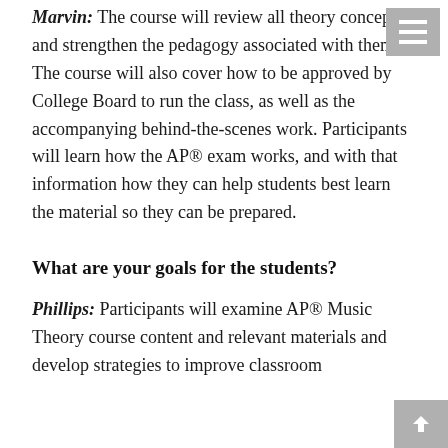Marvin: The course will review all theory concepts and strengthen the pedagogy associated with them. The course will also cover how to be approved by College Board to run the class, as well as the accompanying behind-the-scenes work. Participants will learn how the AP® exam works, and with that information how they can help students best learn the material so they can be prepared.
What are your goals for the students?
Phillips: Participants will examine AP® Music Theory course content and relevant materials and develop strategies to improve classroom